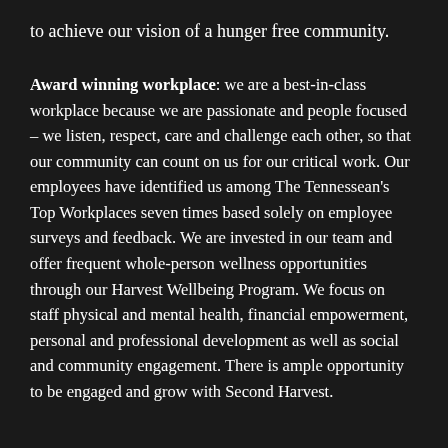to achieve our vision of a hunger free community.
Award winning workplace: we are a best-in-class workplace because we are passionate and people focused – we listen, respect, care and challenge each other, so that our community can count on us for our critical work. Our employees have identified us among The Tennessean's Top Workplaces seven times based solely on employee surveys and feedback. We are invested in our team and offer frequent whole-person wellness opportunities through our Harvest Wellbeing Program. We focus on staff physical and mental health, financial empowerment, personal and professional development as well as social and community engagement. There is ample opportunity to be engaged and grow with Second Harvest.